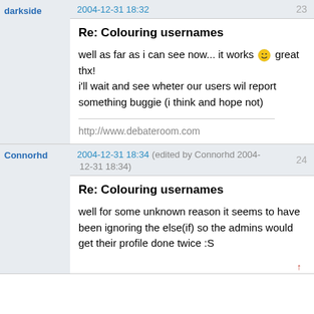darkside | 2004-12-31 18:32 | 23
Re: Colouring usernames
well as far as i can see now... it works great thx!
i'll wait and see wheter our users wil report something buggie (i think and hope not)
http://www.debateroom.com
Connorhd | 2004-12-31 18:34 (edited by Connorhd 2004-12-31 18:34) | 24
Re: Colouring usernames
well for some unknown reason it seems to have been ignoring the else(if) so the admins would get their profile done twice :S